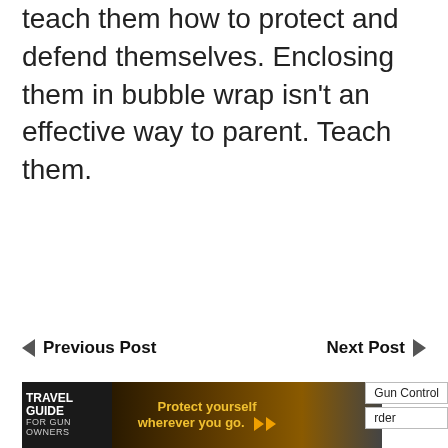teach them how to protect and defend themselves. Enclosing them in bubble wrap isn't an effective way to parent. Teach them.
◄ Previous Post
Next Post ►
[Figure (illustration): Advertisement banner for Travel Guide for Gun Owners and U.S. LawShield with text 'Protect yourself wherever you go.' and orange arrows]
Gun Control
rder